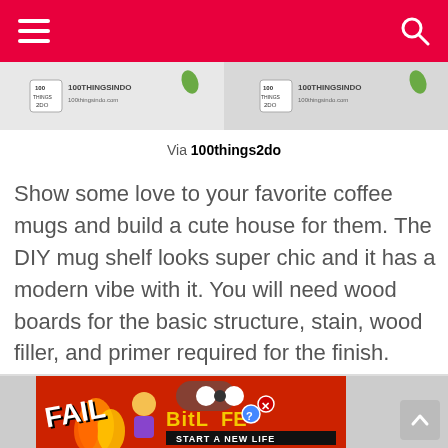Navigation bar with hamburger menu and search icon
[Figure (photo): Image strip showing 100thingsindo logo/watermark repeated twice on a light background]
Via 100things2do
Show some love to your favorite coffee mugs and build a cute house for them. The DIY mug shelf looks super chic and it has a modern vibe with it. You will need wood boards for the basic structure, stain, wood filler, and primer required for the finish.
[Figure (photo): BitLife advertisement banner with FAIL text, cartoon character, flames, and 'START A NEW LIFE' tagline]